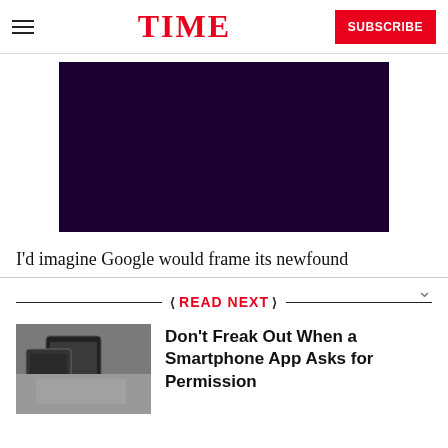TIME | SUBSCRIBE
[Figure (other): Dark purple/black video placeholder rectangle]
I'd imagine Google would frame its newfound
READ NEXT
[Figure (photo): Hands holding a smartphone, app permissions context]
Don't Freak Out When a Smartphone App Asks for Permission